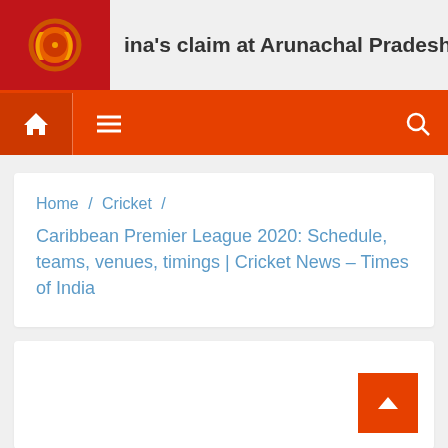ina's claim at Arunachal Pradesh is outrageous Phili
Home / Cricket / Caribbean Premier League 2020: Schedule, teams, venues, timings | Cricket News – Times of India